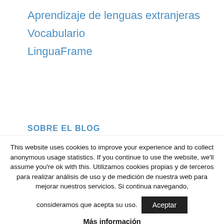Aprendizaje de lenguas extranjeras
Vocabulario
LinguaFrame
SOBRE EL BLOG
This website uses cookies to improve your experience and to collect anonymous usage statistics. If you continue to use the website, we'll assume you're ok with this. Utilizamos cookies propias y de terceros para realizar análisis de uso y de medición de nuestra web para mejorar nuestros servicios. Si continua navegando, consideramos que acepta su uso.
Aceptar
Más información